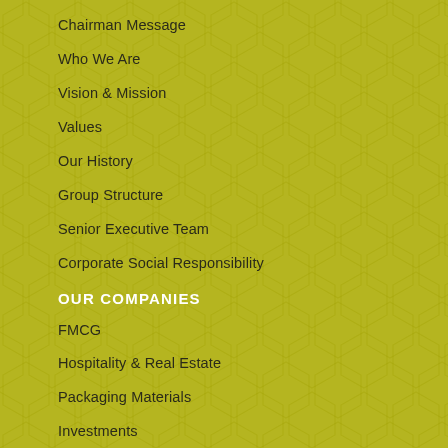Chairman Message
Who We Are
Vision & Mission
Values
Our History
Group Structure
Senior Executive Team
Corporate Social Responsibility
OUR COMPANIES
FMCG
Hospitality & Real Estate
Packaging Materials
Investments
Corporate Social Responsibility